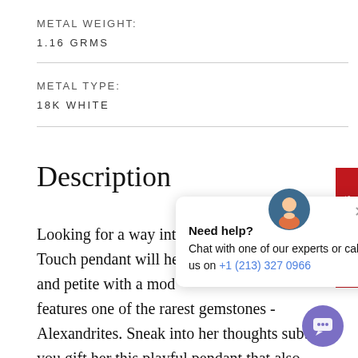METAL WEIGHT:
1.16 GRMS
METAL TYPE:
18K WHITE
Description
Looking for a way into her heart? The Magic Touch pendant will he and petite with a mod features one of the rarest gemstones - Alexandrites. Sneak into her thoughts subtly you gift her this playful pendant that also
[Figure (screenshot): Chat popup overlay with avatar, close button, 'Need help?' text, and phone number +1 (213) 327 0966]
[Figure (other): Purple circular chat button in bottom right corner]